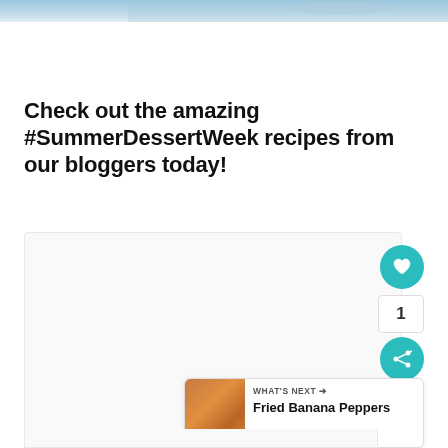[Figure (photo): Partial top edge of a food/dessert photo, bluish dish visible at top]
Check out the amazing #SummerDessertWeek recipes from our bloggers today!
[Figure (screenshot): Blog content card area with social sharing buttons: heart/like button (teal circle), count badge showing 1, share button (teal circle), and a 'What's Next' widget showing Fried Banana Peppers]